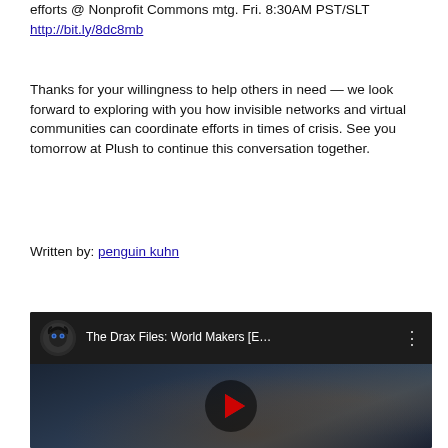efforts @ Nonprofit Commons mtg. Fri. 8:30AM PST/SLT http://bit.ly/8dc8mb
Thanks for your willingness to help others in need — we look forward to exploring with you how invisible networks and virtual communities can coordinate efforts in times of crisis. See you tomorrow at Plush to continue this conversation together.
Written by: penguin kuhn
[Figure (screenshot): YouTube video thumbnail for 'The Drax Files: World Makers [E...' with avatar icon, dark background with blurred scene, and a play button in the center.]